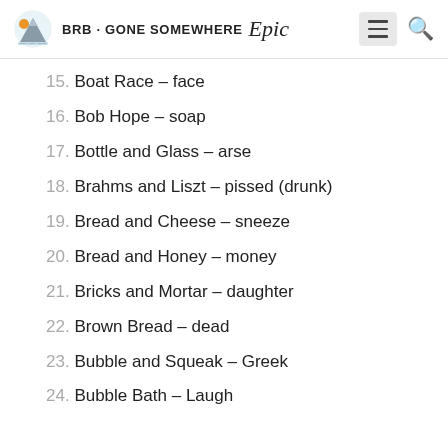BRB · GONE SOMEWHERE Epic
15. Boat Race – face
16. Bob Hope – soap
17. Bottle and Glass – arse
18. Brahms and Liszt – pissed (drunk)
19. Bread and Cheese – sneeze
20. Bread and Honey – money
21. Bricks and Mortar – daughter
22. Brown Bread – dead
23. Bubble and Squeak – Greek
24. Bubble Bath – Laugh